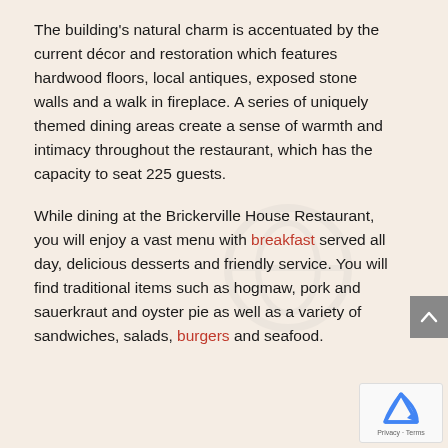The building's natural charm is accentuated by the current décor and restoration which features hardwood floors, local antiques, exposed stone walls and a walk in fireplace. A series of uniquely themed dining areas create a sense of warmth and intimacy throughout the restaurant, which has the capacity to seat 225 guests.
While dining at the Brickerville House Restaurant, you will enjoy a vast menu with breakfast served all day, delicious desserts and friendly service. You will find traditional items such as hogmaw, pork and sauerkraut and oyster pie as well as a variety of sandwiches, salads, burgers and seafood.